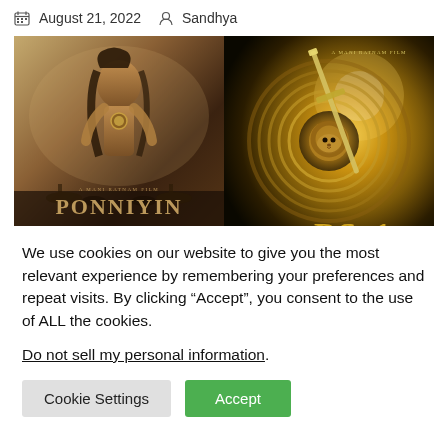August 21, 2022  Sandhya
[Figure (photo): Side-by-side movie posters: left is 'Ponniyin Selvan' (A Mani Ratnam Film) showing a warrior figure; right is 'PS-1' (A Mani Ratnam Film) showing a golden shield with a sword and lion emblem.]
We use cookies on our website to give you the most relevant experience by remembering your preferences and repeat visits. By clicking “Accept”, you consent to the use of ALL the cookies.
Do not sell my personal information.
Cookie Settings  Accept